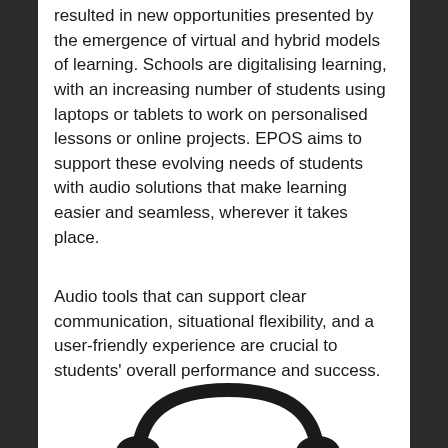resulted in new opportunities presented by the emergence of virtual and hybrid models of learning. Schools are digitalising learning, with an increasing number of students using laptops or tablets to work on personalised lessons or online projects. EPOS aims to support these evolving needs of students with audio solutions that make learning easier and seamless, wherever it takes place.
Audio tools that can support clear communication, situational flexibility, and a user-friendly experience are crucial to students' overall performance and success.
[Figure (photo): Partial view of a black headset/headphones shown from the top, cropped at the bottom of the page]